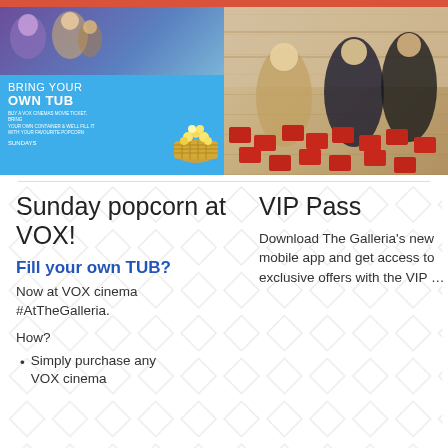[Figure (photo): Two-panel promotional image. Left panel: VOX Cinemas 'Bring Your Own Tub' promotion with people and popcorn basket on blue background. Right panel: Women shopping for shoes surrounded by red boxes in a luxury store.]
Sunday popcorn at VOX!
Fill your own TUB?
Now at VOX cinema #AtTheGalleria.
How?
Simply purchase any VOX cinema
VIP Pass
Download The Galleria's new mobile app and get access to exclusive offers with the VIP …